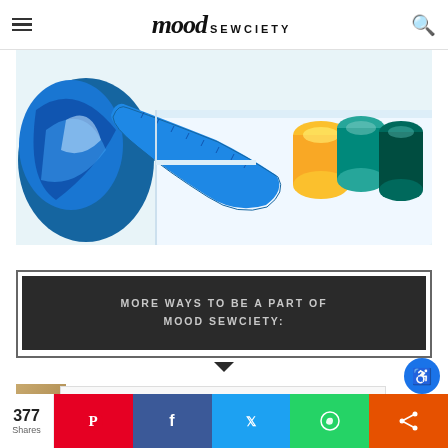Mood Sewciety
[Figure (photo): Photo of sewing supplies on a white surface: blue and white tie-dye fabric, a blue measuring tape, colorful spools of thread (yellow, teal, dark teal), on a white sewing machine or table.]
MORE WAYS TO BE A PART OF MOOD SEWCIETY:
[Figure (photo): Partial view of a card or booklet with tan/brown cover partially visible, and a white rectangular form/card area to the right.]
377 Shares | Pinterest | Facebook | Twitter | WhatsApp | Share